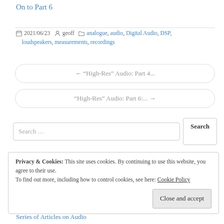On to Part 6
2021/06/23  geoff  analogue, audio, Digital Audio, DSP, loudspeakers, measurements, recordings
← "High-Res" Audio: Part 4...
"High-Res" Audio: Part 6:... →
Search ...  Search
Privacy & Cookies: This site uses cookies. By continuing to use this website, you agree to their use.
To find out more, including how to control cookies, see here: Cookie Policy
Close and accept
Series of Articles on Audio